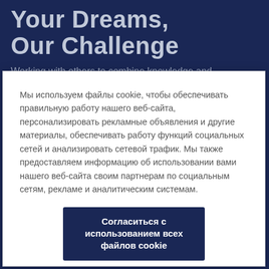Your Dreams, Our Challenge
Working with others to combine knowledge and advanced technology,
Мы используем файлы cookie, чтобы обеспечивать правильную работу нашего веб-сайта, персонализировать рекламные объявления и другие материалы, обеспечивать работу функций социальных сетей и анализировать сетевой трафик. Мы также предоставляем информацию об использовании вами нашего веб-сайта своим партнерам по социальным сетям, рекламе и аналитическим системам.
Согласиться с использованием всех файлов cookie
Настройки файлов cookie